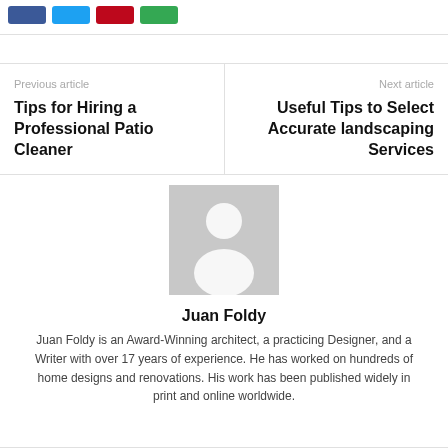[Figure (other): Social share buttons: Facebook (blue), Twitter (light blue), Pinterest (red), Google+ (green)]
Previous article
Tips for Hiring a Professional Patio Cleaner
Next article
Useful Tips to Select Accurate landscaping Services
[Figure (illustration): Generic grey avatar/profile placeholder image with white silhouette of a person]
Juan Foldy
Juan Foldy is an Award-Winning architect, a practicing Designer, and a Writer with over 17 years of experience. He has worked on hundreds of home designs and renovations. His work has been published widely in print and online worldwide.